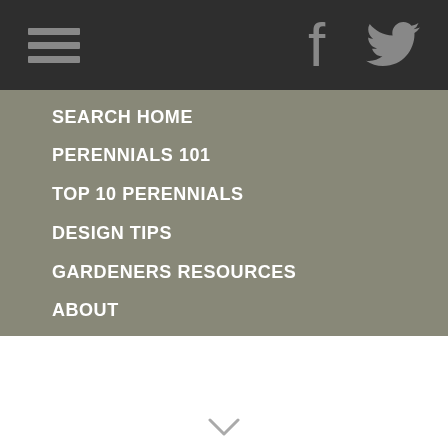Navigation menu with hamburger icon and social media icons (Facebook, Twitter)
SEARCH HOME
PERENNIALS 101
TOP 10 PERENNIALS
DESIGN TIPS
GARDENERS RESOURCES
ABOUT
OUR PLANTS
FEEDBACK
ADVANCED SEARCH
SUBSCRIBE
NEWSLETTER ARCHIVE
CONTACT
PRIVACY
DEALER LOCATOR
DEALER INQUIRIES